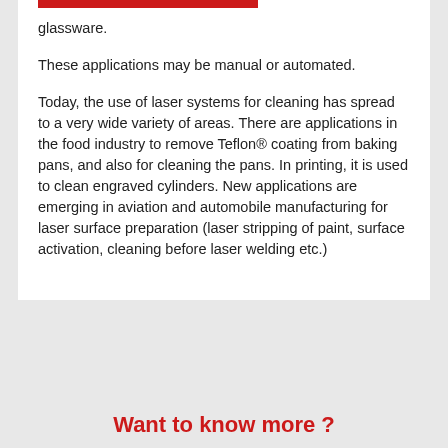glassware.
These applications may be manual or automated.
Today, the use of laser systems for cleaning has spread to a very wide variety of areas. There are applications in the food industry to remove Teflon® coating from baking pans, and also for cleaning the pans. In printing, it is used to clean engraved cylinders. New applications are emerging in aviation and automobile manufacturing for laser surface preparation (laser stripping of paint, surface activation, cleaning before laser welding etc.)
Want to know more ?